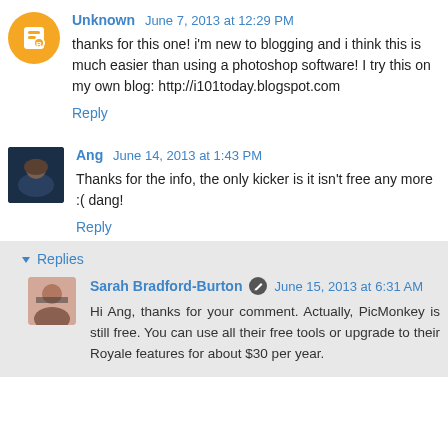Unknown June 7, 2013 at 12:29 PM
thanks for this one! i'm new to blogging and i think this is much easier than using a photoshop software! I try this on my own blog: http://i101today.blogspot.com
Reply
Ang June 14, 2013 at 1:43 PM
Thanks for the info, the only kicker is it isn't free any more :( dang!
Reply
Replies
Sarah Bradford-Burton June 15, 2013 at 6:31 AM
Hi Ang, thanks for your comment. Actually, PicMonkey is still free. You can use all their free tools or upgrade to their Royale features for about $30 per year.